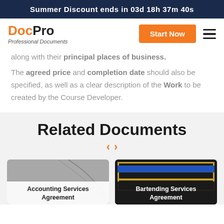Summer Discount ends in 03d 18h 37m 40s
[Figure (logo): DocPro Professional Documents logo with orange Doc and bold black Pro text]
along with their principal places of business.
The agreed price and completion date should also be specified, as well as a clear description of the Work to be created by the Course Developer.
Related Documents
[Figure (illustration): Accounting Services Agreement document card with grey background and decorative curve]
[Figure (illustration): Bartending Services Agreement document card with dark background and gold/blue border frames]